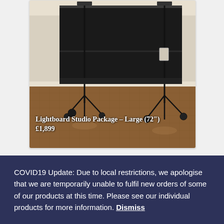[Figure (photo): Lightboard Studio Package – Large (72") product photo showing a large black lightboard panel on wheels with two camera/light stands on a wooden parquet floor against a white wall]
Lightboard Studio Package – Large (72") £1,899
[Figure (photo): Partial view of another product card with an olive/khaki colored background, cropped at bottom of page]
COVID19 Update: Due to local restrictions, we apologise that we are temporarily unable to fulfil new orders of some of our products at this time. Please see our individual products for more information. Dismiss